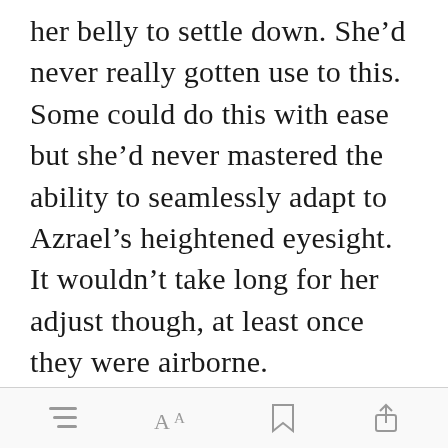her belly to settle down. She'd never really gotten use to this. Some could do this with ease but she'd never mastered the ability to seamlessly adapt to Azrael's heightened eyesight. It wouldn't take long for her adjust though, at least once they were airborne.

She jumped slightly when a warm, calloused hand [Open in app] her cheek.
[menu icon] [font size icon] [bookmark icon] [share icon]